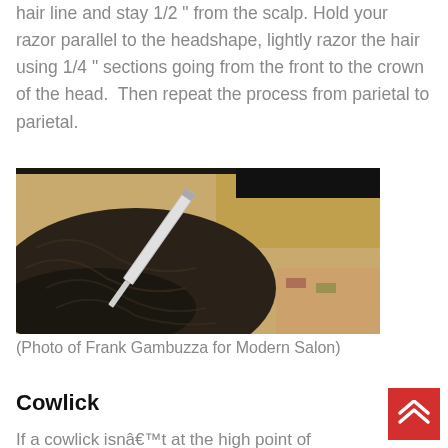hair line and stay 1/2 " from the scalp. Hold your razor parallel to the headshape, lightly razor the hair using 1/4 " sections going from the front to the crown of the head.  Then repeat the process from parietal to parietal.
[Figure (photo): A razor being held parallel to a person's head, razoring the hair near the scalp. The photo shows a close-up of the back/side of the head with dark hair and a silver razor tool.]
(Photo of Frank Gambuzza for Modern Salon)
Cowlick
If a cowlick isnât at the high point of